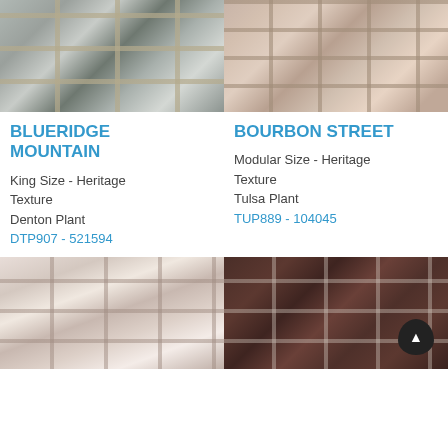[Figure (photo): Close-up of Blueridge Mountain brick — grey and blue-grey stone-like brick pattern with mortar joints]
[Figure (photo): Close-up of Bourbon Street brick — mixed red, tan, and orange brick pattern with mortar joints and textured surface]
BLUERIDGE MOUNTAIN
King Size - Heritage Texture
Denton Plant
DTP907 - 521594
BOURBON STREET
Modular Size - Heritage Texture
Tulsa Plant
TUP889 - 104045
[Figure (photo): Close-up of whitewashed/light brick — pinkish-white and cream coloured bricks with aged texture]
[Figure (photo): Close-up of dark brown brick — deep reddish-brown brick with light mortar joints]